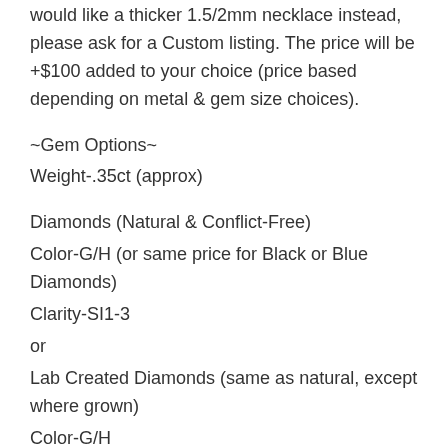would like a thicker 1.5/2mm necklace instead, please ask for a Custom listing. The price will be +$100 added to your choice (price based depending on metal & gem size choices).
~Gem Options~
Weight-.35ct (approx)
Diamonds (Natural & Conflict-Free)
Color-G/H (or same price for Black or Blue Diamonds)
Clarity-SI1-3
or
Lab Created Diamonds (same as natural, except where grown)
Color-G/H
Clarity-VS-SI
or
Moissanite
Color-DEF (or same price for Gray, Blue or Black)
Clarity-VS